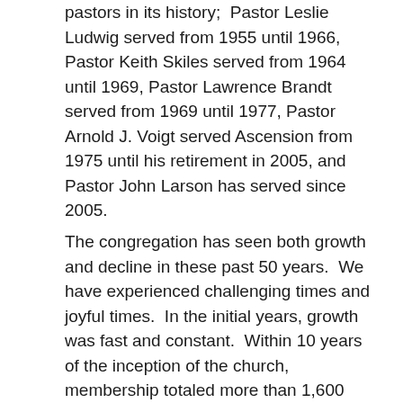pastors in its history; Pastor Leslie Ludwig served from 1955 until 1966, Pastor Keith Skiles served from 1964 until 1969, Pastor Lawrence Brandt served from 1969 until 1977, Pastor Arnold J. Voigt served Ascension from 1975 until his retirement in 2005, and Pastor John Larson has served since 2005.
The congregation has seen both growth and decline in these past 50 years. We have experienced challenging times and joyful times. In the initial years, growth was fast and constant. Within 10 years of the inception of the church, membership totaled more than 1,600 people. Presently, the congregation has about 600 baptized members. 500 of those baptized also are communicant members. The